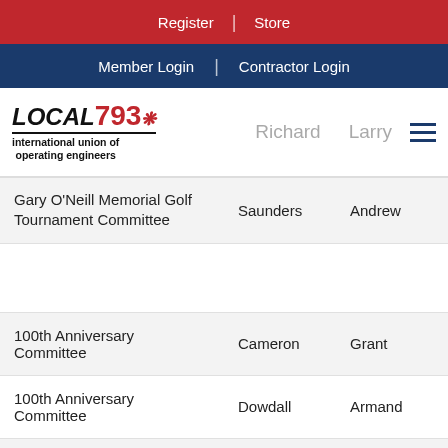Register | Store
Member Login | Contractor Login
[Figure (logo): Local 793 International Union of Operating Engineers logo with maple leaf]
| Committee | Last Name | First Name |
| --- | --- | --- |
| Gary O'Neill Memorial Golf Tournament Committee | Saunders | Andrew |
|  |  |  |
| 100th Anniversary Committee | Cameron | Grant |
| 100th Anniversary Committee | Dowdall | Armand |
| 100th Anniversary Committee | Gallagher | Mike |
| 100th Anniversary Committee | Hamer | Hea... |